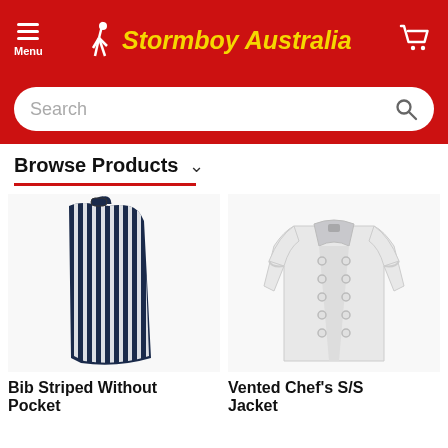Menu | Stormboy Australia | Cart
Search
Browse Products
[Figure (photo): Bib striped apron without pockets, dark navy blue with white vertical stripes]
Bib Striped Without Pocket
[Figure (photo): White vented chef's short sleeve jacket with double-breasted buttons]
Vented Chef's S/S Jacket